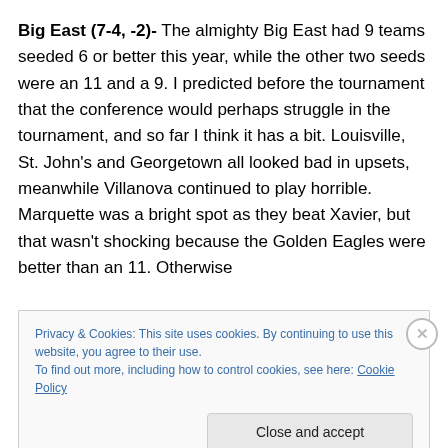Big East (7-4, -2)- The almighty Big East had 9 teams seeded 6 or better this year, while the other two seeds were an 11 and a 9. I predicted before the tournament that the conference would perhaps struggle in the tournament, and so far I think it has a bit. Louisville, St. John's and Georgetown all looked bad in upsets, meanwhile Villanova continued to play horrible. Marquette was a bright spot as they beat Xavier, but that wasn't shocking because the Golden Eagles were better than an 11. Otherwise
Privacy & Cookies: This site uses cookies. By continuing to use this website, you agree to their use.
To find out more, including how to control cookies, see here: Cookie Policy